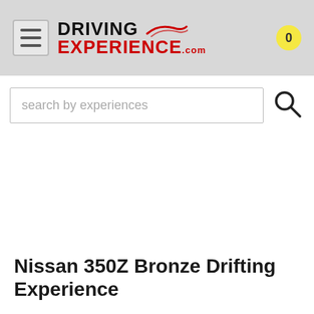DRIVING EXPERIENCE .com
search by experiences
Nissan 350Z Bronze Drifting Experience